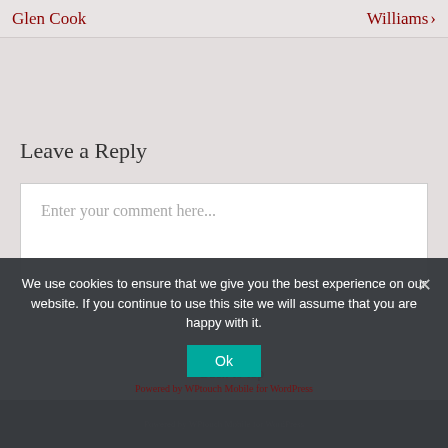Glen Cook   Williams ›
Leave a Reply
Enter your comment here...
⌃ Back to top
We use cookies to ensure that we give you the best experience on our website. If you continue to use this site we will assume that you are happy with it.
Ok
Powered by WPtouch Mobile for WordPress